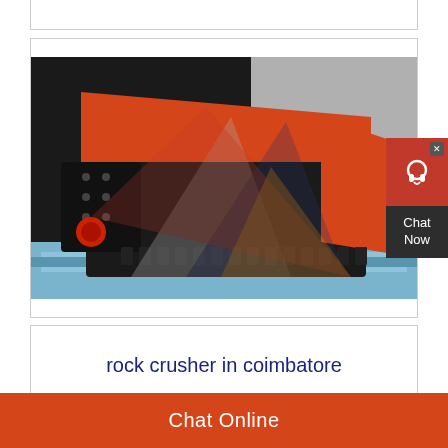[Figure (photo): Photo of a rock crusher / vibrating feeder machine, industrial orange and black metal equipment on a blue wooden pallet, shown in an indoor facility. A watermark logo with triangular shapes is overlaid on the image.]
rock crusher in coimbatore
Chat Online